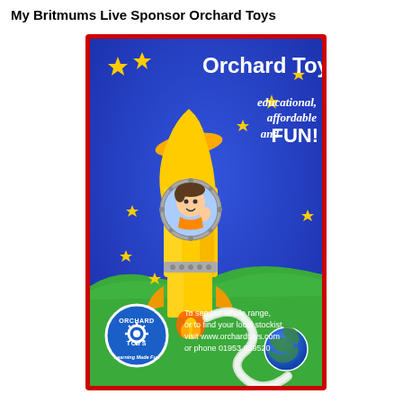My Britmums Live Sponsor Orchard Toys
[Figure (illustration): Orchard Toys advertisement featuring a cartoon yellow rocket ship with a boy waving inside a porthole, flying through a blue starry sky. Text reads: Orchard Toys - educational, affordable and FUN! Bottom green section has Orchard Toys circular logo and text: To see our whole range, or to find your local stockist, visit www.orchardtoys.com or phone 01953 859520. Surrounded by red border.]